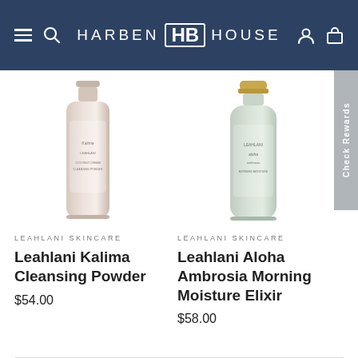HARBEN HB HOUSE
[Figure (photo): Leahlani Kalima Coconut Cream Cleansing Powder bottle — frosted glass cylindrical bottle with beige/pink tones]
LEAHLANI SKINCARE
Leahlani Kalima Cleansing Powder
$54.00
[Figure (photo): Leahlani Aloha Ambrosia Morning Moisture Elixir bottle — frosted glass bottle with sage/green tones and gold cap]
LEAHLANI SKINCARE
Leahlani Aloha Ambrosia Morning Moisture Elixir
$58.00